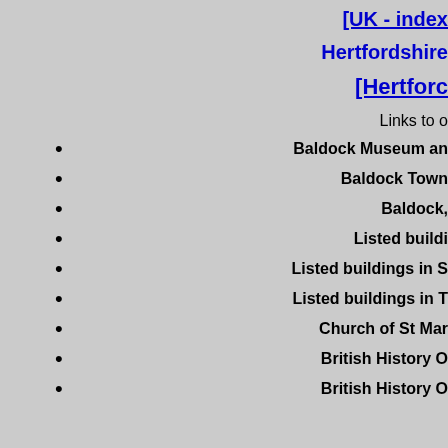[UK - index
Hertfordshire
[Hertforc
Links to o
Baldock Museum an
Baldock Town
Baldock,
Listed buildi
Listed buildings in S
Listed buildings in T
Church of St Mar
British History O
British History O